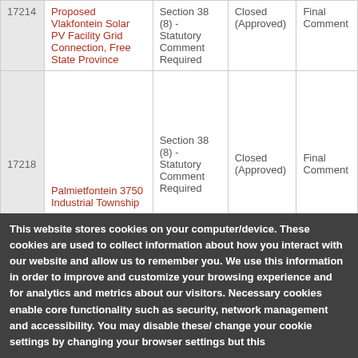| ID | Name | Section | Status | Type |
| --- | --- | --- | --- | --- |
| 17214 | Proposed Vlakfontein Solar PV Facility Grid Connection, Free State Province | Section 38 (8) - Statutory Comment Required | Closed (Approved) | Final Comment |
| 17218 | Palmietfontein 3750 Industrial Township | Section 38 (8) - Statutory Comment Required | Closed (Approved) | Final Comment |
|  |  |  |  |  |
This website stores cookies on your computer/device. These cookies are used to collect information about how you interact with our website and allow us to remember you. We use this information in order to improve and customize your browsing experience and for analytics and metrics about our visitors. Necessary cookies enable core functionality such as security, network management and accessibility. You may disable these/ change your cookie settings by changing your browser settings but this